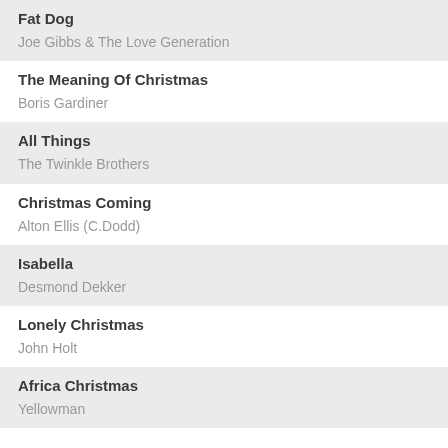Fat Dog
Joe Gibbs & The Love Generation
The Meaning Of Christmas
Boris Gardiner
All Things
The Twinkle Brothers
Christmas Coming
Alton Ellis (C.Dodd)
Isabella
Desmond Dekker
Lonely Christmas
John Holt
Africa Christmas
Yellowman